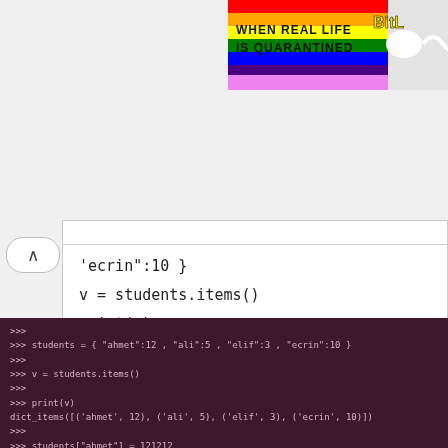[Figure (screenshot): Colorful rainbow banner with text 'WHEN REAL LIFE IS QUARANTINED' and 'BitL' branding]
ecrin":10 }
v = students.items()
print(v)
students["ahmet"] = 121212
print(v)
[Figure (screenshot): Python terminal output showing: >>> students = { 'ahmet':12 , 'ali':5 , 'elif':3 , 'ecrin':10 } >>> v = students.items() >>> print(v) dict_items([('ahmet', 12), ('ali', 5), ('elif', 3), ('ecrin', 10)]) >>> students['ahmet'] = 121212 >>> print(v) dict_items([('ahmet', 121212), ('ali', 5), ('elif', 3), ('ecrin', 10)])]